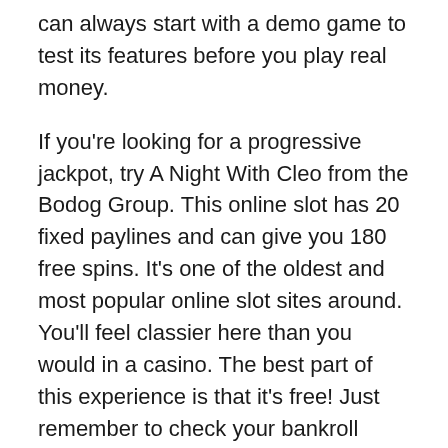can always start with a demo game to test its features before you play real money.
If you're looking for a progressive jackpot, try A Night With Cleo from the Bodog Group. This online slot has 20 fixed paylines and can give you 180 free spins. It's one of the oldest and most popular online slot sites around. You'll feel classier here than you would in a casino. The best part of this experience is that it's free! Just remember to check your bankroll before you start playing for real money.
Slot machines are quick and easy to play. All you need to do is choose a bet, choose the number of paylines you want to play with, and hit spin. Depending on your skill level, you can gamble your winnings, which can make it possible to win even more money. But remember that you should always play responsibly, as the house usually